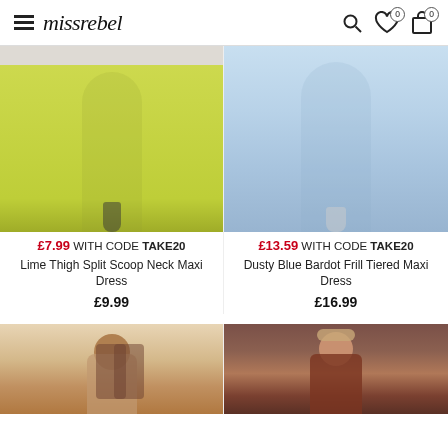missrebel — navigation header with hamburger menu, search, wishlist (0), and cart (0) icons
[Figure (photo): Model wearing lime/yellow-green sleeveless thigh-split scoop neck maxi dress with black heeled sandals on light background]
[Figure (photo): Model wearing dusty blue bardot frill tiered maxi dress with white heeled sandals on light background]
£7.99 WITH CODE TAKE20
£13.59 WITH CODE TAKE20
Lime Thigh Split Scoop Neck Maxi Dress
Dusty Blue Bardot Frill Tiered Maxi Dress
£9.99
£16.99
[Figure (photo): Model with long dark hair wearing a patterned top, partially visible at bottom of page]
[Figure (photo): Model with headband wearing a dark floral/patterned outfit, partially visible at bottom of page]